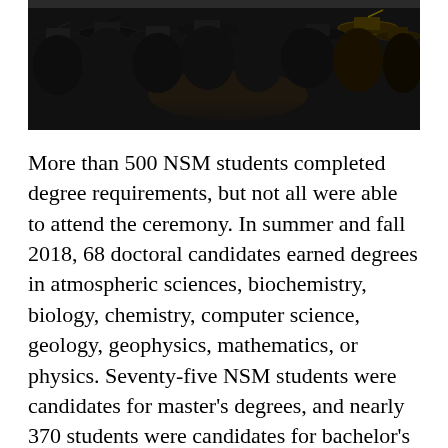[Figure (photo): Graduation ceremony photo showing students in caps and gowns from behind, seated in an auditorium]
More than 500 NSM students completed degree requirements, but not all were able to attend the ceremony. In summer and fall 2018, 68 doctoral candidates earned degrees in atmospheric sciences, biochemistry, biology, chemistry, computer science, geology, geophysics, mathematics, or physics. Seventy-five NSM students were candidates for master's degrees, and nearly 370 students were candidates for bachelor's degrees.
There were 11 summa cum laude graduates, the highest academic honor for bachelor's degree recipients. An additional 78 bachelor's degree